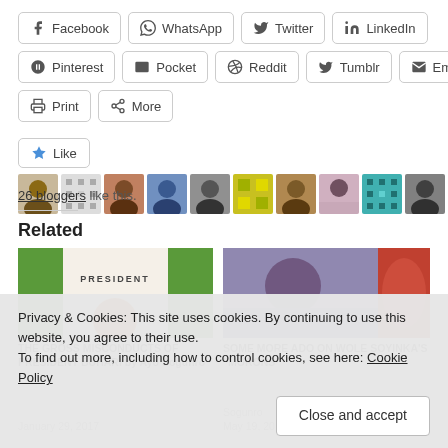Facebook
WhatsApp
Twitter
LinkedIn
Pinterest
Pocket
Reddit
Tumblr
Email
Print
More
Like
26 bloggers like this.
Related
[Figure (photo): Thumbnail image for related article about President Buhari]
THE GROSS MISCONDUCTS OF PRESIDENT BUHARI by Ayo Sogunro
January 29, 2017
[Figure (photo): Thumbnail image for related article about Wole Soyinka]
SOME MORE ADO ON WOLE SOYINKA'S "MORONS"
Sogunro
May 19, 2015
Privacy & Cookies: This site uses cookies. By continuing to use this website, you agree to their use.
To find out more, including how to control cookies, see here: Cookie Policy
Close and accept